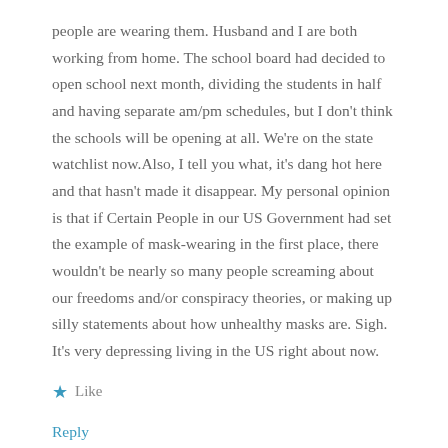people are wearing them. Husband and I are both working from home. The school board had decided to open school next month, dividing the students in half and having separate am/pm schedules, but I don't think the schools will be opening at all. We're on the state watchlist now.Also, I tell you what, it's dang hot here and that hasn't made it disappear. My personal opinion is that if Certain People in our US Government had set the example of mask-wearing in the first place, there wouldn't be nearly so many people screaming about our freedoms and/or conspiracy theories, or making up silly statements about how unhealthy masks are. Sigh. It's very depressing living in the US right about now.
★ Like
Reply